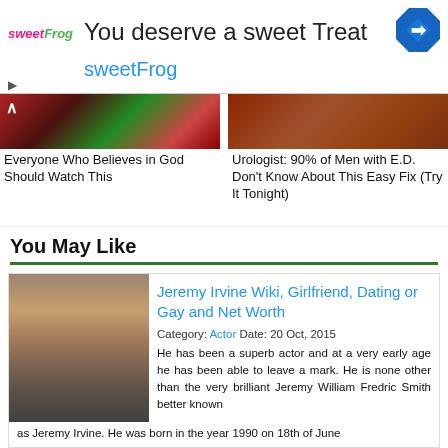[Figure (other): sweetFrog advertisement banner with logo, headline 'You deserve a sweet Treat', sweetFrog text, and blue diamond arrow icon]
[Figure (photo): Left content tile image showing fruit/food]
Everyone Who Believes in God Should Watch This
[Figure (photo): Right content tile image showing food/brown tones]
Urologist: 90% of Men with E.D. Don't Know About This Easy Fix (Try It Tonight)
You May Like
Jeremy Irvine Wiki, Girlfriend, Dating or Gay and Net Worth
Category: Actor Date: 20 Oct, 2015
He has been a superb actor and at a very early age he has been able to leave a mark. He is none other than the very brilliant Jeremy William Fredric Smith better known as Jeremy Irvine. He was born in the year 1990 on 18th of June